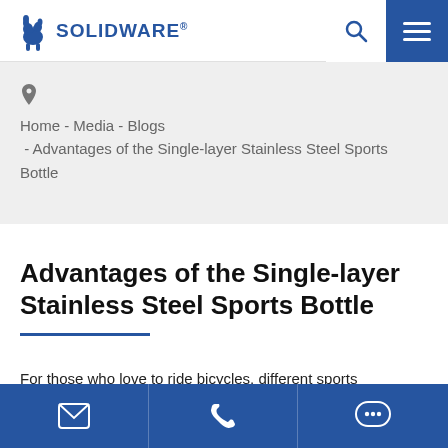SOLIDWARE® [logo] [search icon] [menu icon]
Home - Media - Blogs - Advantages of the Single-layer Stainless Steel Sports Bottle
Advantages of the Single-layer Stainless Steel Sports Bottle
For those who love to ride bicycles, different sports
[email icon] [phone icon] [chat icon]